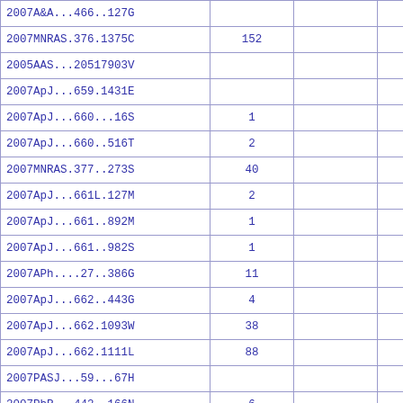| 2007A&A...466..127G |  |  |  |
| 2007MNRAS.376.1375C | 152 |  |  |
| 2005AAS...20517903V |  |  |  |
| 2007ApJ...659.1431E |  |  |  |
| 2007ApJ...660...16S | 1 |  |  |
| 2007ApJ...660..516T | 2 |  |  |
| 2007MNRAS.377..273S | 40 |  |  |
| 2007ApJ...661L.127M | 2 |  |  |
| 2007ApJ...661..892M | 1 |  |  |
| 2007ApJ...661..982S | 1 |  |  |
| 2007APh....27..386G | 11 |  |  |
| 2007ApJ...662..443G | 4 |  |  |
| 2007ApJ...662.1093W | 38 |  |  |
| 2007ApJ...662.1111L | 88 |  |  |
| 2007PASJ...59...67H |  |  |  |
| 2007PhR...442..166N | 6 |  |  |
| 2007A&A...469..941V | 1 |  |  |
| 2007A&A...470..105M | 78 |  |  |
| 2007ApJ...663.1180K | 1 |  |  |
|  |  |  |  |